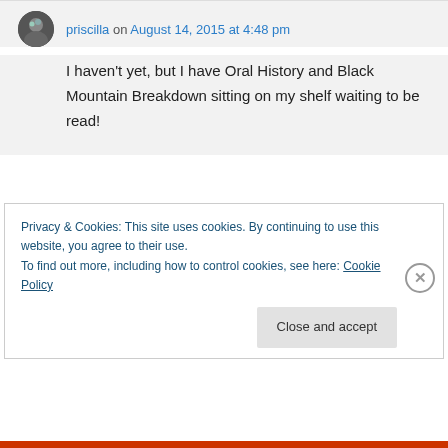priscilla on August 14, 2015 at 4:48 pm
I haven't yet, but I have Oral History and Black Mountain Breakdown sitting on my shelf waiting to be read!
Privacy & Cookies: This site uses cookies. By continuing to use this website, you agree to their use. To find out more, including how to control cookies, see here: Cookie Policy
Close and accept